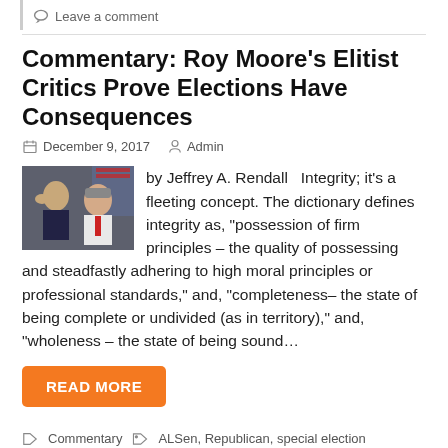Leave a comment
Commentary: Roy Moore’s Elitist Critics Prove Elections Have Consequences
December 9, 2017   Admin
[Figure (photo): Photo of two men, one in a suit with a tie, another gesturing]
by Jeffrey A. Rendall   Integrity; it’s a fleeting concept. The dictionary defines integrity as, “possession of firm principles – the quality of possessing and steadfastly adhering to high moral principles or professional standards,” and, “completeness– the state of being complete or undivided (as in territory),” and, “wholeness – the state of being sound…
READ MORE
Commentary   ALSen, Republican, special election
Leave a comment